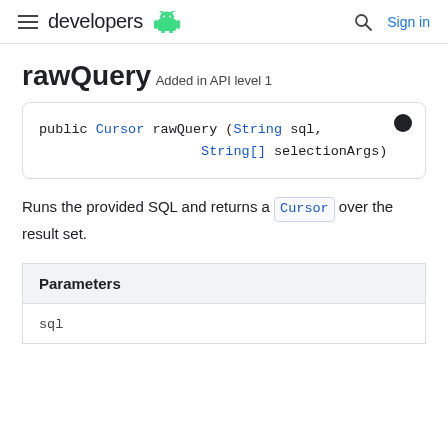developers | Sign in
rawQuery
Added in API level 1
public Cursor rawQuery (String sql, String[] selectionArgs)
Runs the provided SQL and returns a Cursor over the result set.
| Parameters |
| --- |
| sql |